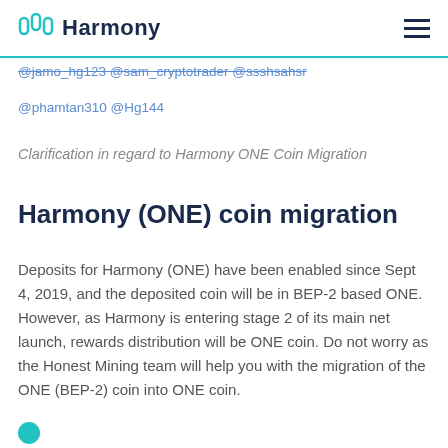Harmony
@jamo_hg123 @sam_cryptotrader @ssshsahsr @phamtan310 @Hg144
Clarification in regard to Harmony ONE Coin Migration
Harmony (ONE) coin migration
Deposits for Harmony (ONE) have been enabled since Sept 4, 2019, and the deposited coin will be in BEP-2 based ONE. However, as Harmony is entering stage 2 of its main net launch, rewards distribution will be ONE coin. Do not worry as the Honest Mining team will help you with the migration of the ONE (BEP-2) coin into ONE coin.